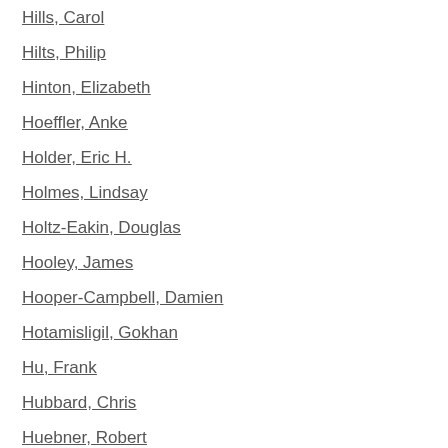Hills, Carol
Hilts, Philip
Hinton, Elizabeth
Hoeffler, Anke
Holder, Eric H.
Holmes, Lindsay
Holtz-Eakin, Douglas
Hooley, James
Hooper-Campbell, Damien
Hotamisligil, Gokhan
Hu, Frank
Hubbard, Chris
Huebner, Robert
Huffington, Arianna
Humer, Caroline
Huskamp, Haiden
Inslee, Jay